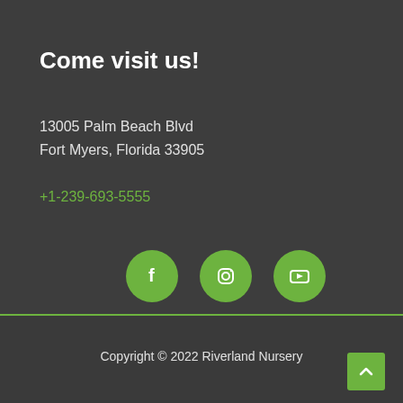Come visit us!
13005 Palm Beach Blvd
Fort Myers, Florida 33905
+1-239-693-5555
[Figure (infographic): Three green circular social media icons: Facebook (f), Instagram (camera), YouTube (play button)]
Copyright © 2022 Riverland Nursery